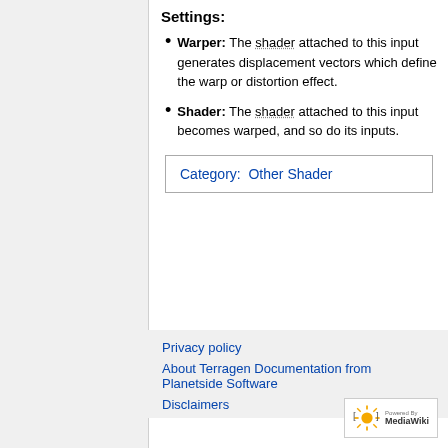Settings:
Warper: The shader attached to this input generates displacement vectors which define the warp or distortion effect.
Shader: The shader attached to this input becomes warped, and so do its inputs.
| Category:  Other Shader |
Privacy policy
About Terragen Documentation from Planetside Software
Disclaimers
[Figure (logo): Powered by MediaWiki logo badge]